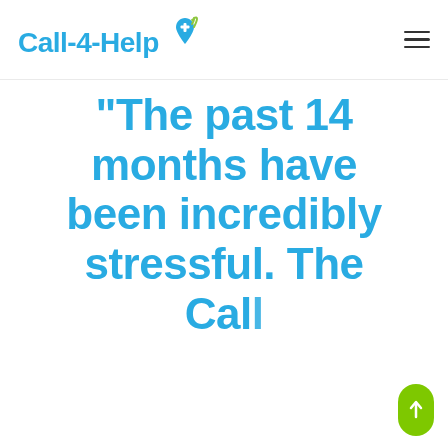[Figure (logo): Call-4-Help logo with location pin icon and WiFi signal, in blue and green colors]
"The past 14 months have been incredibly stressful. The Call...